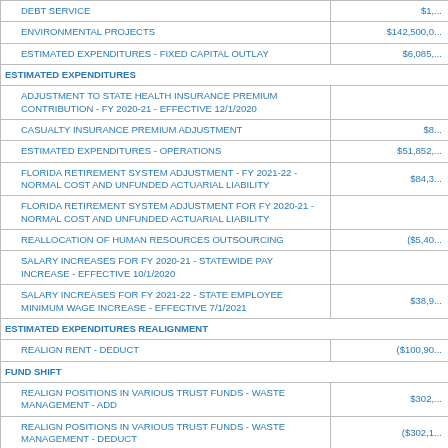| Item | Amount |
| --- | --- |
| DEBT SERVICE | $1,... |
| ENVIRONMENTAL PROJECTS | $142,500,0... |
| ESTIMATED EXPENDITURES - FIXED CAPITAL OUTLAY | $6,085,... |
| ESTIMATED EXPENDITURES |  |
| ADJUSTMENT TO STATE HEALTH INSURANCE PREMIUM CONTRIBUTION - FY 2020-21 - EFFECTIVE 12/1/2020 |  |
| CASUALTY INSURANCE PREMIUM ADJUSTMENT | $8... |
| ESTIMATED EXPENDITURES - OPERATIONS | $51,852,... |
| FLORIDA RETIREMENT SYSTEM ADJUSTMENT - FY 2021-22 - NORMAL COST AND UNFUNDED ACTUARIAL LIABILITY | $84,3... |
| FLORIDA RETIREMENT SYSTEM ADJUSTMENT FOR FY 2020-21 - NORMAL COST AND UNFUNDED ACTUARIAL LIABILITY |  |
| REALLOCATION OF HUMAN RESOURCES OUTSOURCING | ($5,40... |
| SALARY INCREASES FOR FY 2020-21 - STATEWIDE PAY INCREASE - EFFECTIVE 10/1/2020 |  |
| SALARY INCREASES FOR FY 2021-22 - STATE EMPLOYEE MINIMUM WAGE INCREASE - EFFECTIVE 7/1/2021 | $38,9... |
| ESTIMATED EXPENDITURES REALIGNMENT |  |
| REALIGN RENT - DEDUCT | ($100,90... |
| FUND SHIFT |  |
| REALIGN POSITIONS IN VARIOUS TRUST FUNDS - WASTE MANAGEMENT - ADD | $302,... |
| REALIGN POSITIONS IN VARIOUS TRUST FUNDS - WASTE MANAGEMENT - DEDUCT | ($302,1... |
| NONRECURRING EXPENDITURES |  |